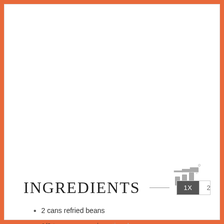[Figure (logo): Three vertical bar/pillar logo icon with superscript degree symbol in gray]
INGREDIENTS
2 cans refried beans
1/2 teaspoon cumin, optional
salt and pepper
10 flour tortillas
1 cup cheese, Cheddar or Pepper Jack